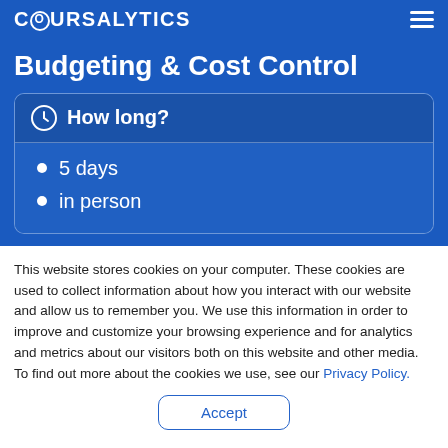COURSALYTICS
Budgeting & Cost Control
How long?
5 days
in person
This website stores cookies on your computer. These cookies are used to collect information about how you interact with our website and allow us to remember you. We use this information in order to improve and customize your browsing experience and for analytics and metrics about our visitors both on this website and other media. To find out more about the cookies we use, see our Privacy Policy.
Accept